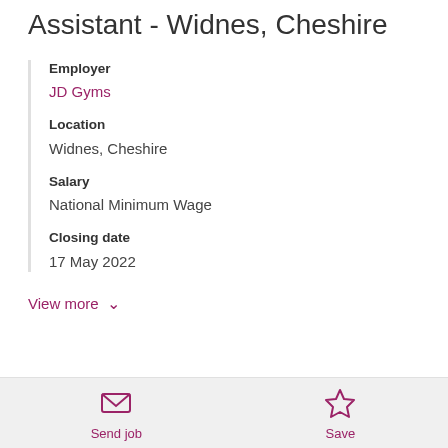Assistant - Widnes, Cheshire
Employer
JD Gyms
Location
Widnes, Cheshire
Salary
National Minimum Wage
Closing date
17 May 2022
View more
Send job
Save